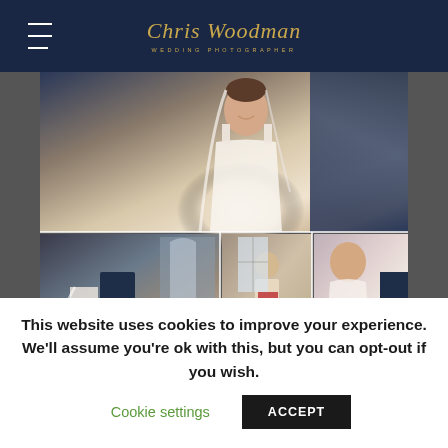Chris Woodman Wedding Photography
[Figure (photo): Wedding photography collage: Top large photo shows a smiling bride in lace wedding dress with veil, looking sideways, with groom in dark navy suit partially visible. Bottom left photo shows bride and groom from behind at ceremony. Bottom middle photo shows officiant or guest reading. Bottom right photo shows bride in lace dress receiving ring.]
This website uses cookies to improve your experience. We'll assume you're ok with this, but you can opt-out if you wish.
Cookie settings    ACCEPT